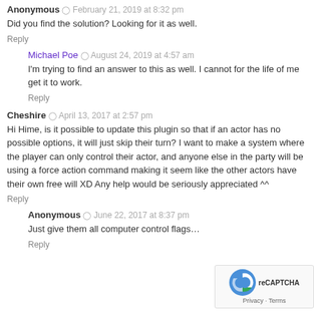Anonymous · February 21, 2019 at 8:32 pm
Did you find the solution? Looking for it as well.
Reply
Michael Poe · August 24, 2019 at 4:57 am
I'm trying to find an answer to this as well. I cannot for the life of me get it to work.
Reply
Cheshire · April 13, 2017 at 2:57 pm
Hi Hime, is it possible to update this plugin so that if an actor has no possible options, it will just skip their turn? I want to make a system where the player can only control their actor, and anyone else in the party will be using a force action command making it seem like the other actors have their own free will XD Any help would be seriously appreciated ^^
Reply
Anonymous · June 22, 2017 at 8:37 pm
Just give them all computer control flags…
Reply